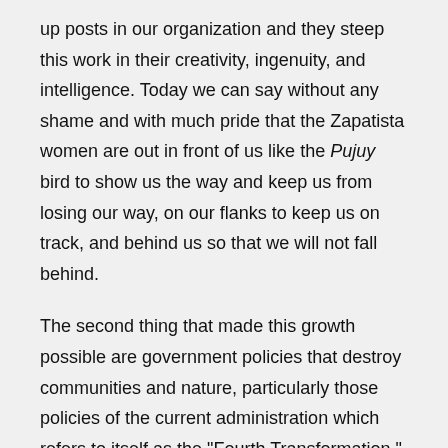up posts in our organization and they steep this work in their creativity, ingenuity, and intelligence. Today we can say without any shame and with much pride that the Zapatista women are out in front of us like the Pujuy bird to show us the way and keep us from losing our way, on our flanks to keep us on track, and behind us so that we will not fall behind.
The second thing that made this growth possible are government policies that destroy communities and nature, particularly those policies of the current administration which refers to itself as the "Fourth Transformation." Communities that have traditionally supported the political parties have been hurt by the contempt, racism, and voracity of the current administration, and they have moved into either hidden or open rebellion. Those above who thought that their counter-insurgent strategy of giving out handouts would serve to divide Zapatista communities, buy off non-Zapatistas, and generate confrontations and demoralization actually provided us with the final arguments that we needed in order to convince those brothers and sisters that it is far more